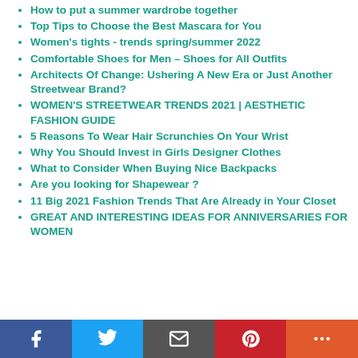How to put a summer wardrobe together
Top Tips to Choose the Best Mascara for You
Women's tights - trends spring/summer 2022
Comfortable Shoes for Men – Shoes for All Outfits
Architects Of Change: Ushering A New Era or Just Another Streetwear Brand?
WOMEN'S STREETWEAR TRENDS 2021 | AESTHETIC FASHION GUIDE
5 Reasons To Wear Hair Scrunchies On Your Wrist
Why You Should Invest in Girls Designer Clothes
What to Consider When Buying Nice Backpacks
Are you looking for Shapewear ?
11 Big 2021 Fashion Trends That Are Already in Your Closet
GREAT AND INTERESTING IDEAS FOR ANNIVERSARIES FOR WOMEN
Facebook | Twitter | Email | Pinterest | More